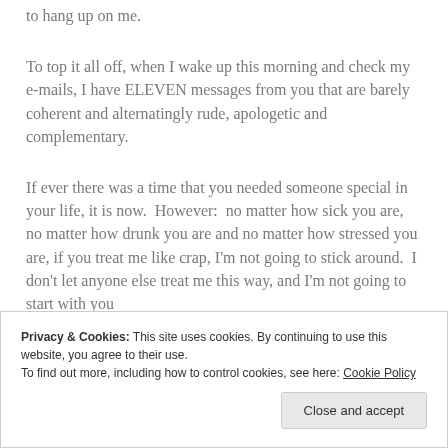to hang up on me.
To top it all off, when I wake up this morning and check my e-mails, I have ELEVEN messages from you that are barely coherent and alternatingly rude, apologetic and complementary.
If ever there was a time that you needed someone special in your life, it is now.  However:  no matter how sick you are, no matter how drunk you are and no matter how stressed you are, if you treat me like crap, I'm not going to stick around.  I don't let anyone else treat me this way, and I'm not going to start with you
Privacy & Cookies: This site uses cookies. By continuing to use this website, you agree to their use.
To find out more, including how to control cookies, see here: Cookie Policy
Close and accept